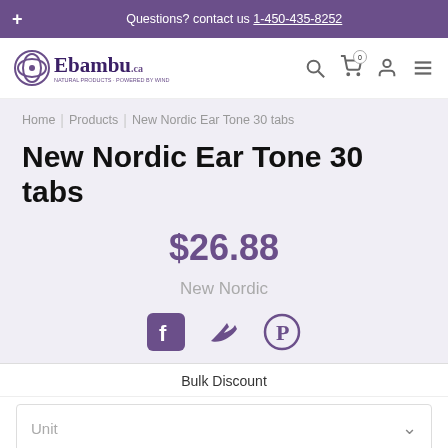+ Questions? contact us 1-450-435-8252
[Figure (logo): Ebambu logo with purple leaf icon]
Home | Products | New Nordic Ear Tone 30 tabs
New Nordic Ear Tone 30 tabs
$26.88
New Nordic
[Figure (infographic): Social sharing icons: Facebook, Twitter, Pinterest]
Bulk Discount
Unit
1